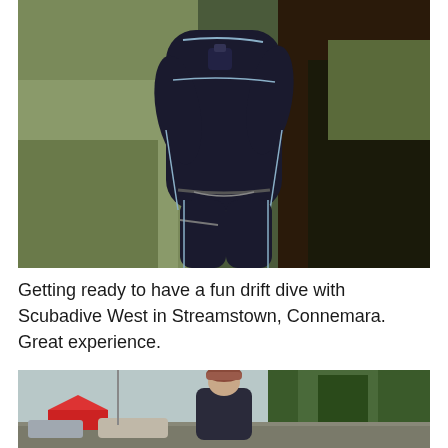[Figure (photo): Person in a dark navy wetsuit with light blue/grey seams, arms crossed, standing outdoors. Scuba diving equipment visible. Background shows grassy and rocky coastal terrain.]
Getting ready to have a fun drift dive with Scubadive West in Streamstown, Connemara. Great experience.
[Figure (photo): Person wearing a dark jacket and reddish-brown knit hat, standing outdoors in a car park area with trees in the background. Overcast sky.]